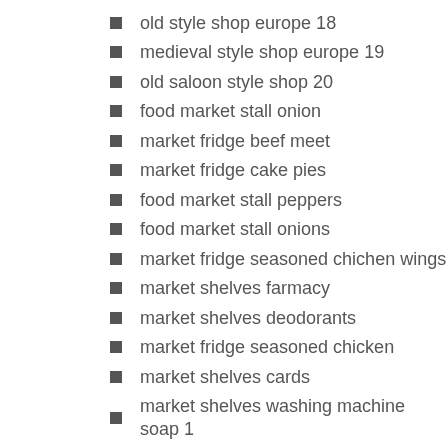old style shop europe 18
medieval style shop europe 19
old saloon style shop 20
food market stall onion
market fridge beef meet
market fridge cake pies
food market stall peppers
food market stall onions
market fridge seasoned chichen wings
market shelves farmacy
market shelves deodorants
market fridge seasoned chicken
market shelves cards
market shelves washing machine soap 1
market shelves washing machine soap 2
market shelves mexican food
market shelves shampoo
market shelves razors
market shelves perfumes